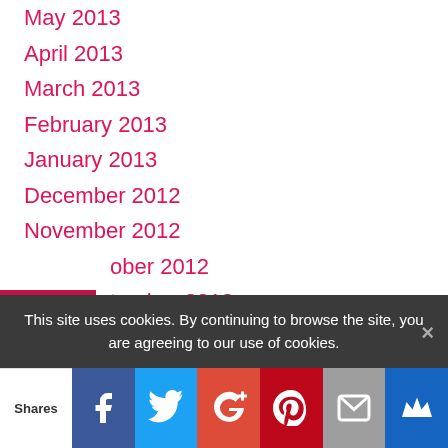May 2013
April 2013
March 2013
February 2013
January 2013
December 2012
November 2012
October 2012
September 2012
August 2012
July 2012
June 2012
May 2012
April 2012
March 2012
This site uses cookies. By continuing to browse the site, you are agreeing to our use of cookies.